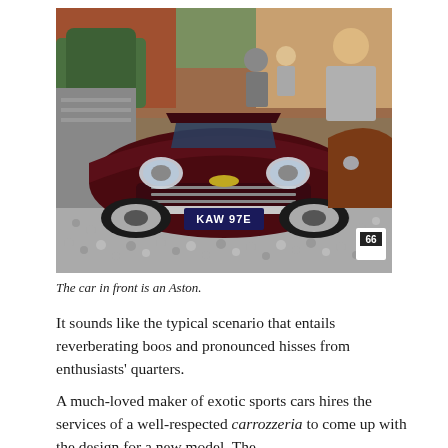[Figure (photo): A dark maroon/burgundy classic Aston Martin sports car (registration plate KAW 97E) photographed from the front at what appears to be a classic car show. A brown classic car is partially visible to the right. People are visible in the background. The number 66 is visible on a placard at lower right.]
The car in front is an Aston.
It sounds like the typical scenario that entails reverberating boos and pronounced hisses from enthusiasts' quarters.
A much-loved maker of exotic sports cars hires the services of a well-respected carrozzeria to come up with the design for a new model. The